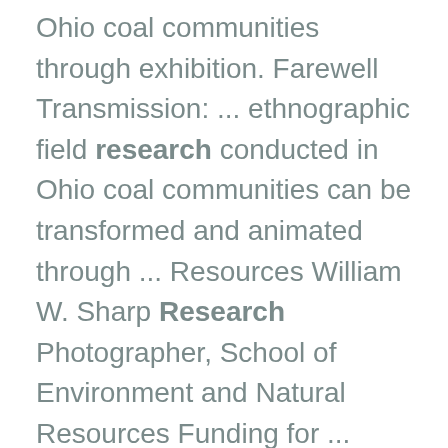Ohio coal communities through exhibition. Farewell Transmission: ... ethnographic field research conducted in Ohio coal communities can be transformed and animated through ... Resources William W. Sharp Research Photographer, School of Environment and Natural Resources Funding for ...
OSU Income Tax Schools 2022
https://farmoffice.osu.edu/blog/thu-08182022-1213pm/osu-income-tax-schools-2022
Blog Subscriptions ...
Welcome Days 2022